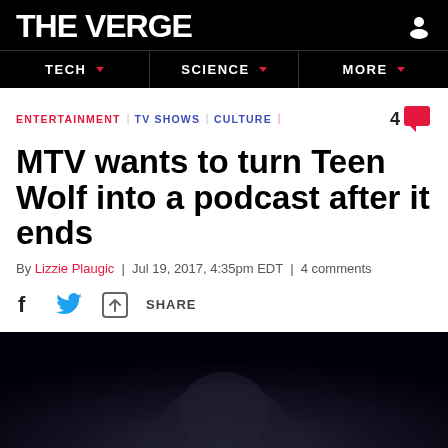THE VERGE
TECH | SCIENCE | MORE
ENTERTAINMENT \ TV SHOWS \ CULTURE  4
MTV wants to turn Teen Wolf into a podcast after it ends
By Lizzie Plaugic | Jul 19, 2017, 4:35pm EDT | 4 comments
SHARE
[Figure (photo): Dark image of a person's face, likely a still from the Teen Wolf show]